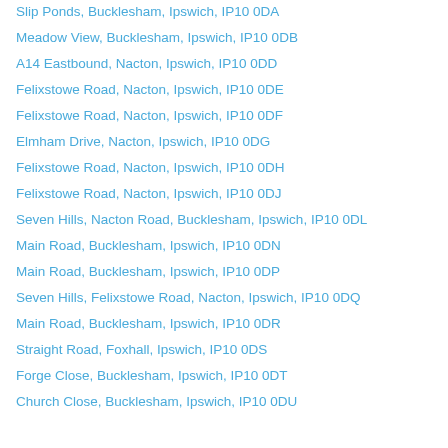Slip Ponds, Bucklesham, Ipswich, IP10 0DA
Meadow View, Bucklesham, Ipswich, IP10 0DB
A14 Eastbound, Nacton, Ipswich, IP10 0DD
Felixstowe Road, Nacton, Ipswich, IP10 0DE
Felixstowe Road, Nacton, Ipswich, IP10 0DF
Elmham Drive, Nacton, Ipswich, IP10 0DG
Felixstowe Road, Nacton, Ipswich, IP10 0DH
Felixstowe Road, Nacton, Ipswich, IP10 0DJ
Seven Hills, Nacton Road, Bucklesham, Ipswich, IP10 0DL
Main Road, Bucklesham, Ipswich, IP10 0DN
Main Road, Bucklesham, Ipswich, IP10 0DP
Seven Hills, Felixstowe Road, Nacton, Ipswich, IP10 0DQ
Main Road, Bucklesham, Ipswich, IP10 0DR
Straight Road, Foxhall, Ipswich, IP10 0DS
Forge Close, Bucklesham, Ipswich, IP10 0DT
Church Close, Bucklesham, Ipswich, IP10 0DU